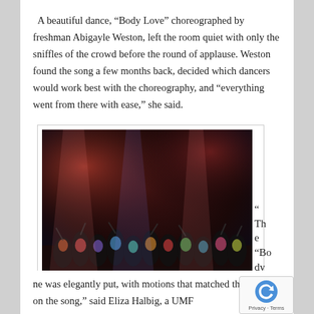A beautiful dance, “Body Love” choreographed by freshman Abigayle Weston, left the room quiet with only the sniffles of the crowd before the round of applause. Weston found the song a few months back, decided which dancers would work best with the choreography, and “everything went from there with ease,” she said.
[Figure (photo): Group photo of many dancers on a stage posing together, lit with red and purple stage lighting. Large group celebration pose at BAM 2018.]
BAM 2018. (Photo courtesy of Sylvia Brooks)
“The “Body Love” ro
ne was elegantly put, with motions that matched the vocals on the song,” said Eliza Halbig, a UMF